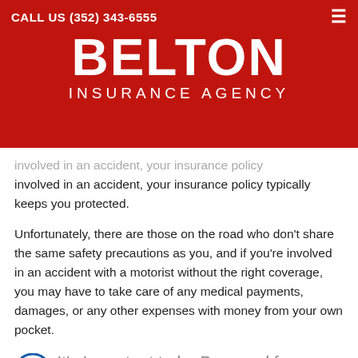CALL US (352) 343-6555
BELTON INSURANCE AGENCY
involved in an accident, your insurance policy typically keeps you protected.
Unfortunately, there are those on the road who don't share the same safety precautions as you, and if you're involved in an accident with a motorist without the right coverage, you may have to take care of any medical payments, damages, or any other expenses with money from your own pocket.
It's Important to be Prepared for Everything
Uninsured/Underinsured Motorist C...